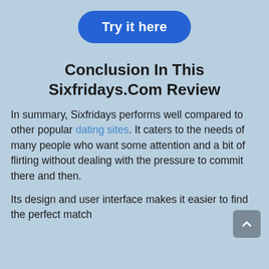[Figure (other): Blue rounded rectangle button with white bold text 'Try it here']
Conclusion In This Sixfridays.Com Review
In summary, Sixfridays performs well compared to other popular dating sites. It caters to the needs of many people who want some attention and a bit of flirting without dealing with the pressure to commit there and then.
Its design and user interface makes it easier to find the perfect match